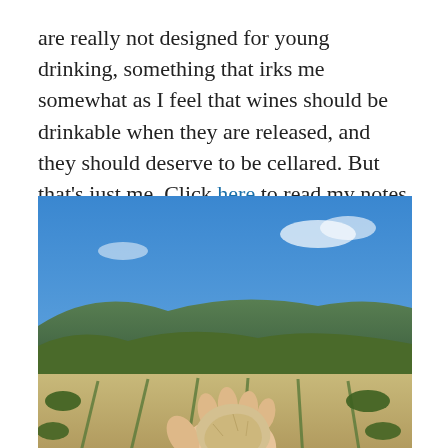are really not designed for young drinking, something that irks me somewhat as I feel that wines should be drinkable when they are released, and they should deserve to be cellared. But that's just me. Click here to read my notes on the tasting.
[Figure (photo): A hand holding a piece of clay-limestone soil in a vineyard with rows of grapevines and a blue sky in the background.]
Clay and limestone soils in an Artadi vineyard
The last winery I visited in Rioja also happened to be the only one located in the southeastern part of the region, commonly